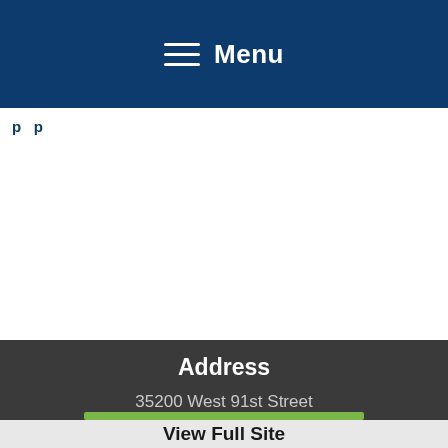Menu
p
Address
35200 West 91st Street
De Soto, KS 66018
View Full Site